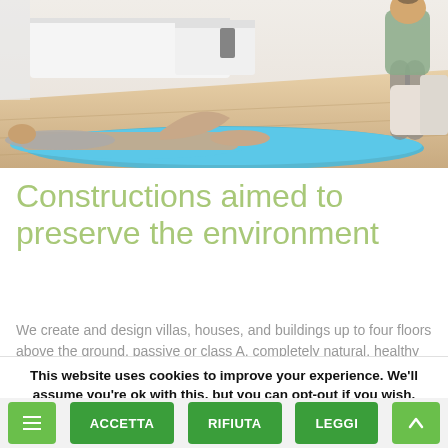[Figure (photo): Two women doing yoga/pilates exercises on a blue mat in a bright living room. One woman is lying prone doing a back extension, the other is in a downward-facing or standing pose. The room has light wood floors and white furniture.]
Constructions aimed to preserve the environment
We create and design villas, houses, and buildings up to four floors above the ground, passive or class A, completely natural, healthy and eco-friendly.
This website uses cookies to improve your experience. We'll assume you're ok with this, but you can opt-out if you wish.